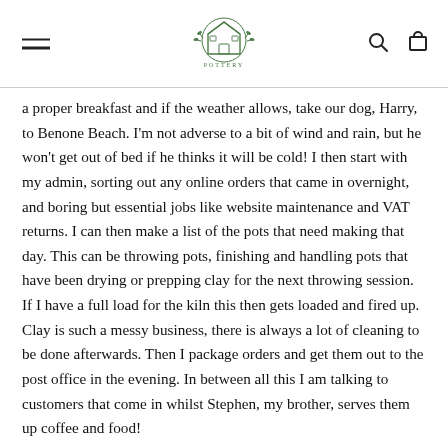THE BLACKHEATH POTTERY — navigation header with hamburger menu, logo, search and cart icons
a proper breakfast and if the weather allows, take our dog, Harry, to Benone Beach. I'm not adverse to a bit of wind and rain, but he won't get out of bed if he thinks it will be cold! I then start with my admin, sorting out any online orders that came in overnight, and boring but essential jobs like website maintenance and VAT returns. I can then make a list of the pots that need making that day. This can be throwing pots, finishing and handling pots that have been drying or prepping clay for the next throwing session. If I have a full load for the kiln this then gets loaded and fired up. Clay is such a messy business, there is always a lot of cleaning to be done afterwards. Then I package orders and get them out to the post office in the evening. In between all this I am talking to customers that come in whilst Stephen, my brother, serves them up coffee and food!